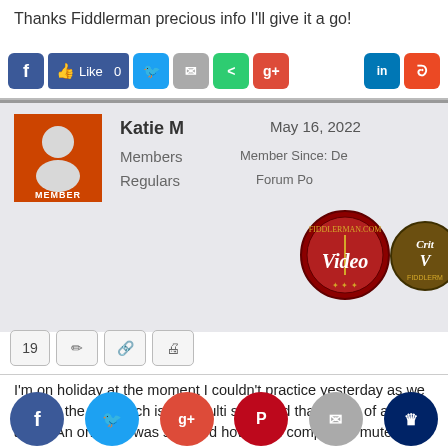Thanks Fiddlerman precious info I'll give it a go!
[Figure (screenshot): Social sharing buttons: Facebook, Like 0, Twitter, Email, Share, Google+, LinkedIn, StumbleUpon]
Katie M
Members
Regulars
May 16, 2022
Member Since: De
Forum Po
[Figure (logo): Fiddlerman.com Video badge (red circular seal)]
[Figure (logo): Critical V (Crit) brown circular badge]
19
I'm on holiday at the moment I couldn't practice yesterday as we were in the car which is in a multi story and that's a bit of a treck away! An on and I was shocked how it did completely mute it in a really horrible were on about getting rid ! But anyway I thought it went ok and I seen also go better ny mp essing !! Ma
[Figure (screenshot): Bottom social sharing circles: Facebook, Twitter, Google+, Pinterest, Email, Crown]